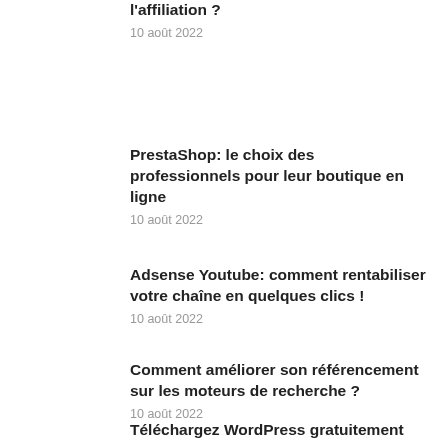l'affiliation ?
10 août 2022
PrestaShop: le choix des professionnels pour leur boutique en ligne
10 août 2022
Adsense Youtube: comment rentabiliser votre chaîne en quelques clics !
10 août 2022
Comment améliorer son référencement sur les moteurs de recherche ?
10 août 2022
Téléchargez WordPress gratuitement